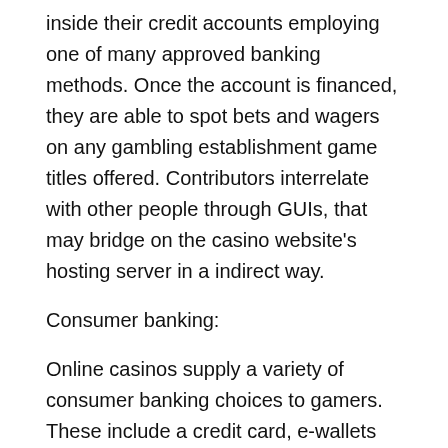inside their credit accounts employing one of many approved banking methods. Once the account is financed, they are able to spot bets and wagers on any gambling establishment game titles offered. Contributors interrelate with other people through GUIs, that may bridge on the casino website's hosting server in a indirect way.
Consumer banking:
Online casinos supply a variety of consumer banking choices to gamers. These include a credit card, e-wallets like Neteller and Skrill, primary financial institution transfers, wire transfer services like Traditional western Union and MoneyGram, and pre-paid cards like Ukash and Paysafecard.